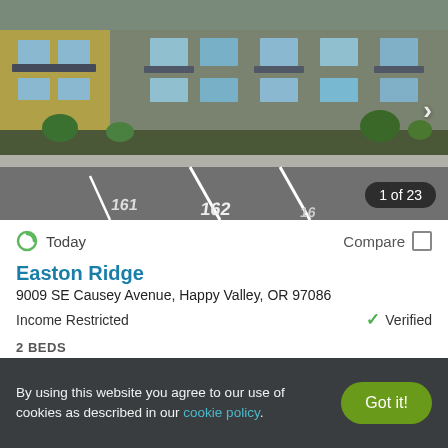[Figure (photo): Exterior photo of Easton Ridge apartment complex showing parking lot in foreground and multi-story building with balconies in background. Parking space numbers 162 visible on asphalt. Navigation arrow on right side. Badge showing '1 of 23'.]
Today
Compare
Easton Ridge
9009 SE Causey Avenue, Happy Valley, OR 97086
Income Restricted
Verified
2 BEDS
$1,178
By using this website you agree to our use of cookies as described in our cookie policy.